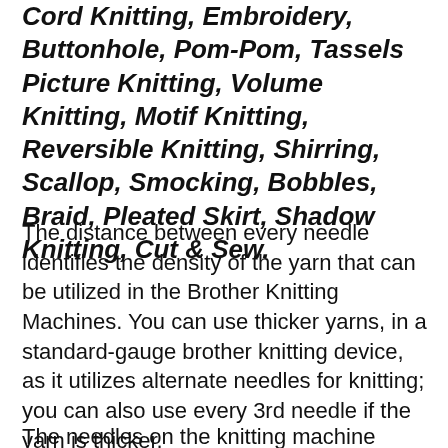Cord Knitting, Embroidery, Buttonhole, Pom-Pom, Tassels Picture Knitting, Volume Knitting, Motif Knitting, Reversible Knitting, Shirring, Scallop, Smocking, Bobbles, Braid, Pleated Skirt, Shadow Knitting, Cut & Sew.
The distance between every needle identifies the density of the yarn that can be utilized in the Brother Knitting Machines. You can use thicker yarns, in a standard-gauge brother knitting device, as it utilizes alternate needles for knitting; you can also use every 3rd needle if the yarn is thicker.
The needles on the knitting machines...